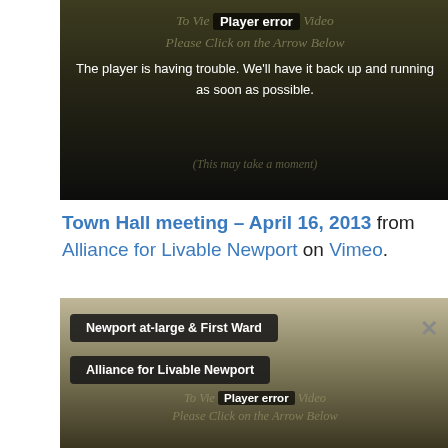[Figure (screenshot): Video player showing error state with olive/dark gradient background. Text reads 'To View Video Please Click on the Arrow Below (This may take a moment)' overlaid with 'Player error' badge and white error message: 'The player is having trouble. We'll have it back up and running as soon as possible.']
Town Hall meeting – April 16, 2013 from Alliance for Livable Newport on Vimeo.
[Figure (screenshot): Second video player screenshot showing overlay labels 'Newport at-large & First Ward' and 'Alliance for Livable Newport', a close button X, and a player error state at the bottom with olive gradient background.]